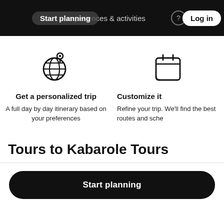Start planning  experiences & activities  Log in
[Figure (illustration): Globe with location pin icon]
Get a personalized trip
A full day by day itinerary based on your preferences
[Figure (illustration): Calendar icon]
Customize it
Refine your trip. We'll find the best routes and sche...
Tours to Kabarole Tours
Start planning